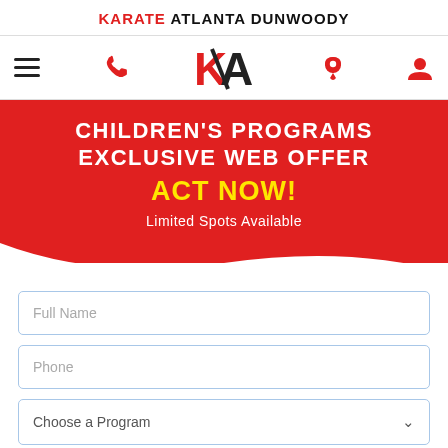KARATE ATLANTA DUNWOODY
[Figure (logo): KA logo with red K and black A, navbar with hamburger menu, phone icon, map pin, and user icon]
CHILDREN'S PROGRAMS EXCLUSIVE WEB OFFER ACT NOW! Limited Spots Available
Full Name
Phone
Choose a Program
Enter your email address